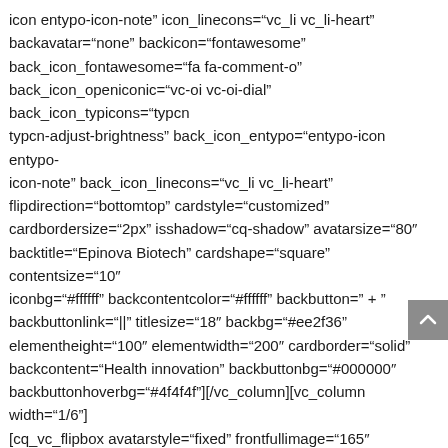icon entypo-icon-note" icon_linecons="vc_li vc_li-heart" backavatar="none" backicon="fontawesome" back_icon_fontawesome="fa fa-comment-o" back_icon_openiconic="vc-oi vc-oi-dial" back_icon_typicons="typcn typcn-adjust-brightness" back_icon_entypo="entypo-icon entypo-icon-note" back_icon_linecons="vc_li vc_li-heart" flipdirection="bottomtop" cardstyle="customized" cardbordersize="2px" isshadow="cq-shadow" avatarsize="80″ backtitle="Epinova Biotech" cardshape="square" contentsize="10″ iconbg="#ffffff" backcontentcolor="#ffffff" backbutton=" + " backbuttonlink="||" titlesize="18″ backbg="#ee2f36" elementheight="100″ elementwidth="200″ cardborder="solid" backcontent="Health innovation" backbuttonbg="#000000″ backbuttonhoverbg="#4f4f4f"][/vc_column][vc_column width="1/6"] [cq_vc_flipbox avatarstyle="fixed" frontfullimage="165″ avatartype="none" avataricon="fontawesome" icon_fontawesome="fa fa-adjust" icon_openiconic="vc-oi vc-oi-dial" icon_typicons="typcn typcn-adjust-brightness" icon_entypo="entypo-icon entypo-icon-no